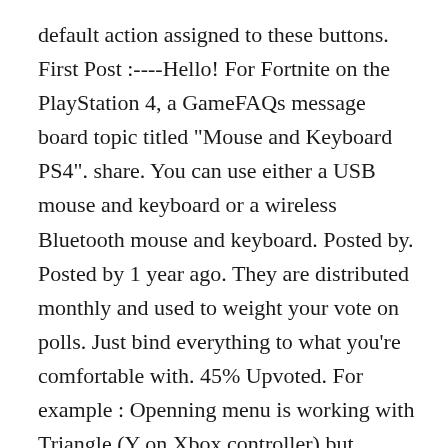default action assigned to these buttons. First Post :----Hello! For Fortnite on the PlayStation 4, a GameFAQs message board topic titled "Mouse and Keyboard PS4". share. You can use either a USB mouse and keyboard or a wireless Bluetooth mouse and keyboard. Posted by. Posted by 1 year ago. They are distributed monthly and used to weight your vote on polls. Just bind everything to what you're comfortable with. 45% Upvoted. For example : Openning menu is working with Triangle (Y on Xbox controller) but impossible to close it. Mar 2018. These are the same ports you use to charge your PS4 controllers. I hope you don't get shit on people for saying that.